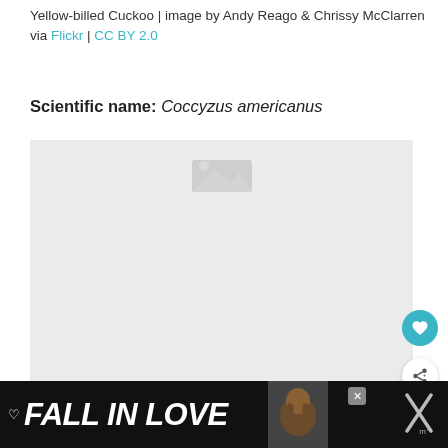Yellow-billed Cuckoo | image by Andy Reago & Chrissy McClarren via Flickr | CC BY 2.0
Scientific name: Coccyzus americanus
[Figure (photo): Photo placeholder area for Yellow-billed Cuckoo bird image, light gray background]
[Figure (screenshot): What's Next panel showing thumbnail of a bird and text: WHAT'S NEXT → 15 Birds That Start With Z...]
[Figure (infographic): Advertisement bar at bottom: dark background with FALL IN LOVE text in white italic, dog photo, close button, and X icon]